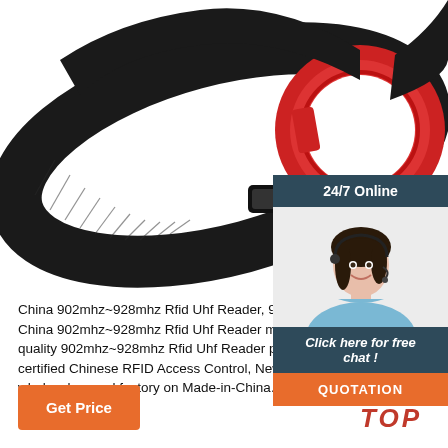[Figure (photo): RFID UHF wristband reader device with red circular disc and black velcro strap on white background]
[Figure (infographic): 24/7 Online chat widget showing a smiling female customer service agent with headset, 'Click here for free chat!' text, and orange QUOTATION button]
China 902mhz~928mhz Rfid Uhf Reader, 902mhz~9... China 902mhz~928mhz Rfid Uhf Reader manufactu... 2021 high quality 902mhz~928mhz Rfid Uhf Reader products in best price from certified Chinese RFID Access Control, New Card Reader suppliers, wholesalers and factory on Made-in-China.com
[Figure (logo): TOP badge with red dots arranged in triangle and red italic TOP text]
Get Price